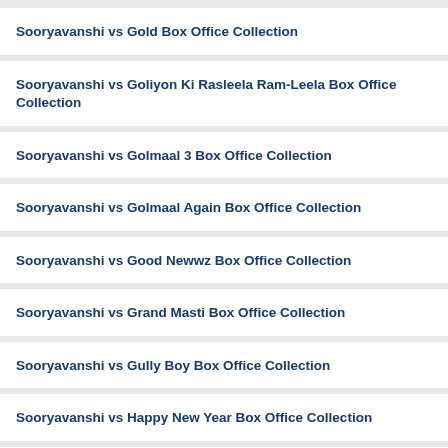Sooryavanshi vs Gold Box Office Collection
Sooryavanshi vs Goliyon Ki Rasleela Ram-Leela Box Office Collection
Sooryavanshi vs Golmaal 3 Box Office Collection
Sooryavanshi vs Golmaal Again Box Office Collection
Sooryavanshi vs Good Newwz Box Office Collection
Sooryavanshi vs Grand Masti Box Office Collection
Sooryavanshi vs Gully Boy Box Office Collection
Sooryavanshi vs Happy New Year Box Office Collection
Sooryavanshi vs Holiday Box Office Collection
Sooryavanshi vs Housefull 2 Box Office Collection